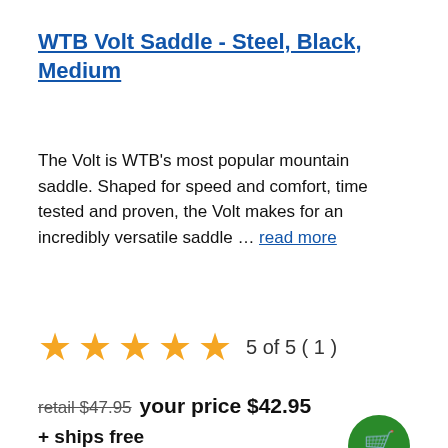WTB Volt Saddle - Steel, Black, Medium
The Volt is WTB's most popular mountain saddle. Shaped for speed and comfort, time tested and proven, the Volt makes for an incredibly versatile saddle … read more
5 of 5 ( 1 )
retail $47.95 your price $42.95
+ ships free
[Figure (photo): Black bicycle saddle (WTB Volt) viewed from the side, partially visible at the bottom of the page]